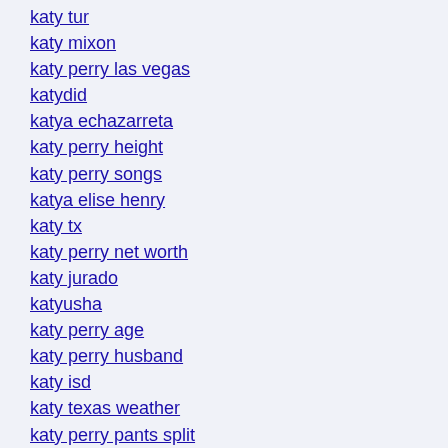katy tur
katy mixon
katy perry las vegas
katydid
katya echazarreta
katy perry height
katy perry songs
katya elise henry
katy tx
katy perry net worth
katy jurado
katyusha
katy perry age
katy perry husband
katy isd
katy texas weather
katy perry pants split
katy perry roar
katy perry baby
katy ann